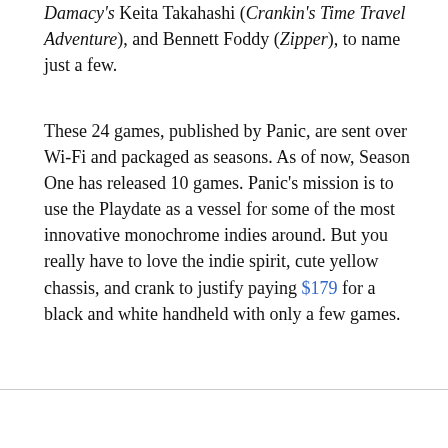Damacy's Keita Takahashi (Crankin's Time Travel Adventure), and Bennett Foddy (Zipper), to name just a few.
These 24 games, published by Panic, are sent over Wi-Fi and packaged as seasons. As of now, Season One has released 10 games. Panic's mission is to use the Playdate as a vessel for some of the most innovative monochrome indies around. But you really have to love the indie spirit, cute yellow chassis, and crank to justify paying $179 for a black and white handheld with only a few games.